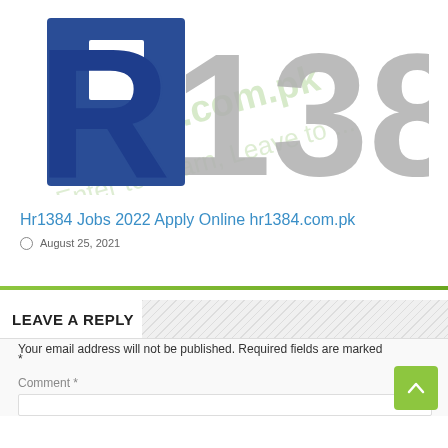[Figure (logo): Hr1384 logo: large blue letter R and large gray numbers 1384, with watermark text 'Enter to Learn, Leave to...' and 'r1384.com.pk']
Hr1384 Jobs 2022 Apply Online hr1384.com.pk
August 25, 2021
LEAVE A REPLY
Your email address will not be published. Required fields are marked *
Comment *